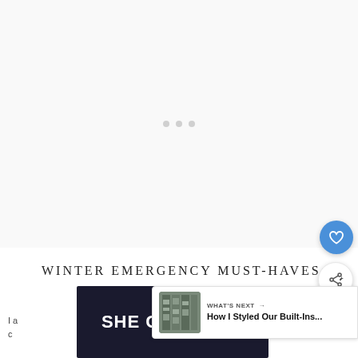[Figure (screenshot): White/light gray loading area with three small gray dots in the center, representing a loading spinner or placeholder for an image]
[Figure (other): Blue circular heart/favorite button]
[Figure (other): White circular share button with share icon]
[Figure (other): What's Next card showing a thumbnail of built-in shelves and text 'How I Styled Our Built-Ins...']
WINTER EMERGENCY MUST-HAVES:
[Figure (screenshot): Dark navy banner advertisement with bold white text reading 'SHE CAN STEM']
I a...c
...ing to
[Figure (logo): Mastercard-style logo with overlapping circles]